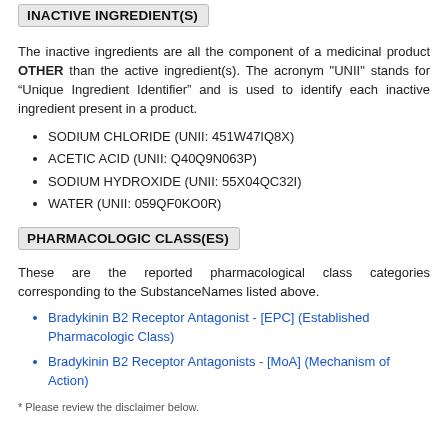INACTIVE INGREDIENT(S)
The inactive ingredients are all the component of a medicinal product OTHER than the active ingredient(s). The acronym "UNII" stands for “Unique Ingredient Identifier” and is used to identify each inactive ingredient present in a product.
SODIUM CHLORIDE (UNII: 451W47IQ8X)
ACETIC ACID (UNII: Q40Q9N063P)
SODIUM HYDROXIDE (UNII: 55X04QC32I)
WATER (UNII: 059QF0KO0R)
PHARMACOLOGIC CLASS(ES)
These are the reported pharmacological class categories corresponding to the SubstanceNames listed above.
Bradykinin B2 Receptor Antagonist - [EPC] (Established Pharmacologic Class)
Bradykinin B2 Receptor Antagonists - [MoA] (Mechanism of Action)
* Please review the disclaimer below.